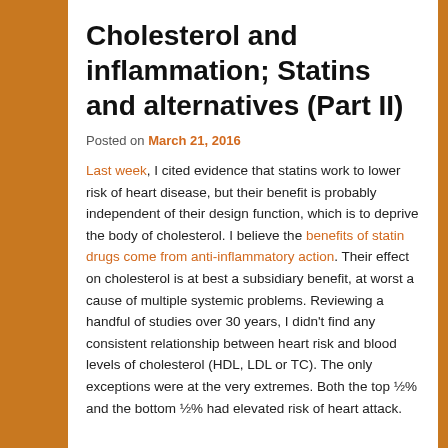Cholesterol and inflammation; Statins and alternatives (Part II)
Posted on March 21, 2016
Last week, I cited evidence that statins work to lower risk of heart disease, but their benefit is probably independent of their design function, which is to deprive the body of cholesterol. I believe the benefits of statin drugs come from anti-inflammatory action. Their effect on cholesterol is at best a subsidiary benefit, at worst a cause of multiple systemic problems. Reviewing a handful of studies over 30 years, I didn't find any consistent relationship between heart risk and blood levels of cholesterol (HDL, LDL or TC). The only exceptions were at the very extremes. Both the top ½% and the bottom ½% had elevated risk of heart attack.